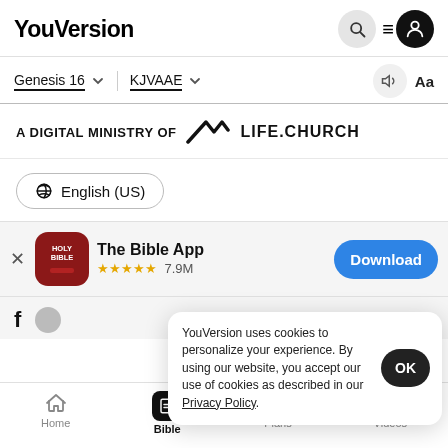YouVersion
Genesis 16   KJVAAE
[Figure (logo): A DIGITAL MINISTRY OF LIFE.CHURCH logo]
English (US)
[Figure (screenshot): The Bible App download banner with 5-star rating 7.9M and Download button]
YouVersion uses cookies to personalize your experience. By using our website, you accept our use of cookies as described in our Privacy Policy.
Home  Bible  Plans  Videos